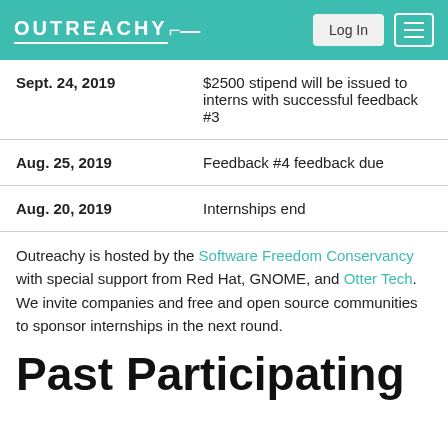OUTREACHY
| Date | Event |
| --- | --- |
| Sept. 24, 2019 | $2500 stipend will be issued to interns with successful feedback #3 |
| Aug. 25, 2019 | Feedback #4 feedback due |
| Aug. 20, 2019 | Internships end |
Outreachy is hosted by the Software Freedom Conservancy with special support from Red Hat, GNOME, and Otter Tech. We invite companies and free and open source communities to sponsor internships in the next round.
Past Participating